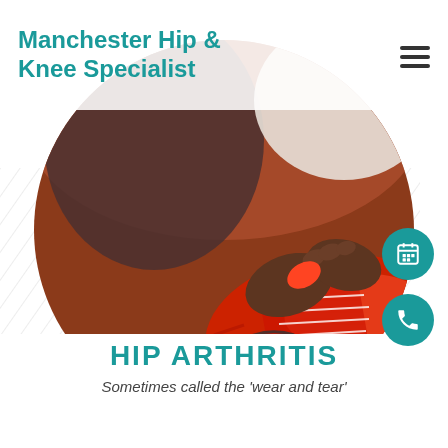Manchester Hip & Knee Specialist
[Figure (photo): Circular cropped photo of a person tying red athletic shoes on a running track, with earphones visible on the ground nearby.]
HIP ARTHRITIS
Sometimes called the 'wear and tear'